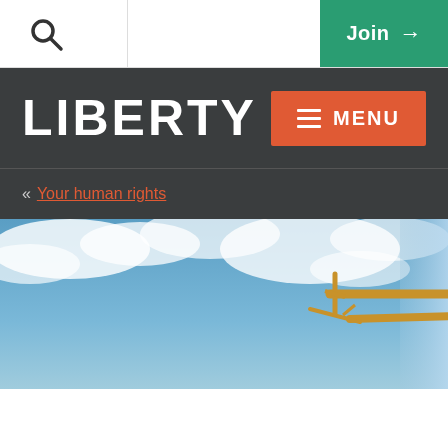Join →
LIBERTY
« Your human rights
[Figure (photo): Golden statue of a figure holding a sword outstretched against a blue sky with white clouds — appears to be the Old Bailey Lady Justice statue.]
Article 6 /